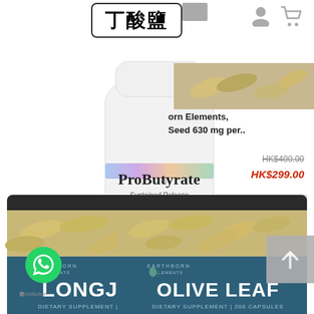丁酸鹽
[Figure (photo): White supplement bottle labeled ProButyrate Sustained Release Hypoallergenic by Tesseract Medical Research, Dietary Supplement 120 Vegetarian Capsules, with holographic band]
[Figure (photo): Thumbnail product image showing Earthborn Elements supplement capsules, partially visible]
orn Elements, Seed 630 mg per..
HK$400.00
HK$299.00
[Figure (photo): Dark jar of Earthborn Elements Longjack Dietary Supplement 200 Capsules with capsules visible]
[Figure (photo): Dark jar of Earthborn Elements Olive Leaf Dietary Supplement 200 Capsules with capsules visible]
[Figure (logo): WhatsApp green circular button with phone handset icon]